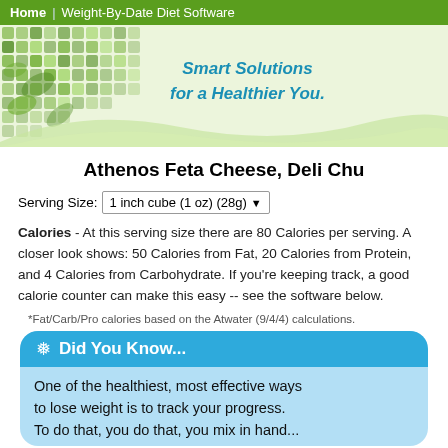Home | Weight-By-Date Diet Software
[Figure (illustration): Green banner header with dot-grid pattern on left and Smart Solutions for a Healthier You. text in teal italic bold font, with a light green wave at bottom]
Athenos Feta Cheese, Deli Chu
Serving Size: 1 inch cube (1 oz) (28g)
Calories - At this serving size there are 80 Calories per serving. A closer look shows: 50 Calories from Fat, 20 Calories from Protein, and 4 Calories from Carbohydrate. If you're keeping track, a good calorie counter can make this easy -- see the software below.
*Fat/Carb/Pro calories based on the Atwater (9/4/4) calculations.
Did You Know...
One of the healthiest, most effective ways to lose weight is to track your progress. To do that, you do that, you mix in hand...